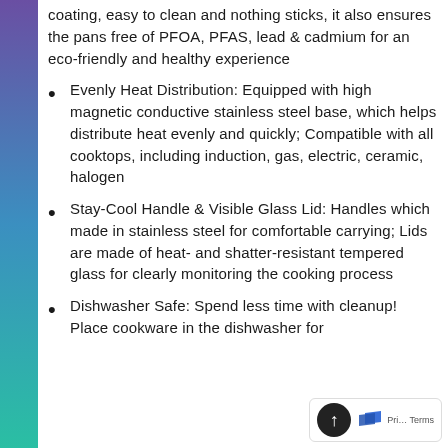coating, easy to clean and nothing sticks, it also ensures the pans free of PFOA, PFAS, lead & cadmium for an eco-friendly and healthy experience
Evenly Heat Distribution: Equipped with high magnetic conductive stainless steel base, which helps distribute heat evenly and quickly; Compatible with all cooktops, including induction, gas, electric, ceramic, halogen
Stay-Cool Handle & Visible Glass Lid: Handles which made in stainless steel for comfortable carrying; Lids are made of heat- and shatter-resistant tempered glass for clearly monitoring the cooking process
Dishwasher Safe: Spend less time with cleanup! Place cookware in the dishwasher for